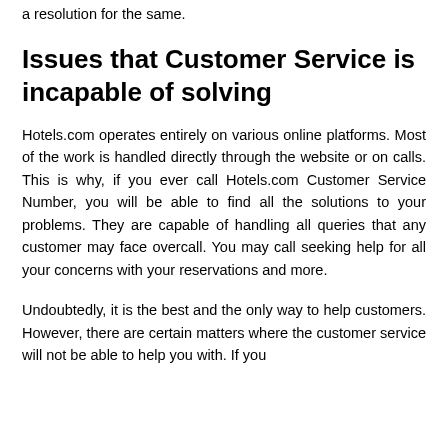a resolution for the same.
Issues that Customer Service is incapable of solving
Hotels.com operates entirely on various online platforms. Most of the work is handled directly through the website or on calls. This is why, if you ever call Hotels.com Customer Service Number, you will be able to find all the solutions to your problems. They are capable of handling all queries that any customer may face overcall. You may call seeking help for all your concerns with your reservations and more.
Undoubtedly, it is the best and the only way to help customers. However, there are certain matters where the customer service will not be able to help you with. If you